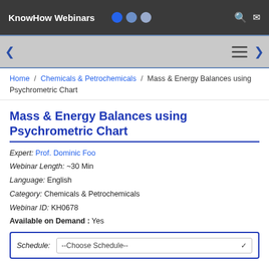KowHow Webinars
Home / Chemicals & Petrochemicals / Mass & Energy Balances using Psychrometric Chart
Mass & Energy Balances using Psychrometric Chart
Expert: Prof. Dominic Foo
Webinar Length: ~30 Min
Language: English
Category: Chemicals & Petrochemicals
Webinar ID: KH0678
Available on Demand : Yes
Schedule: --Choose Schedule--